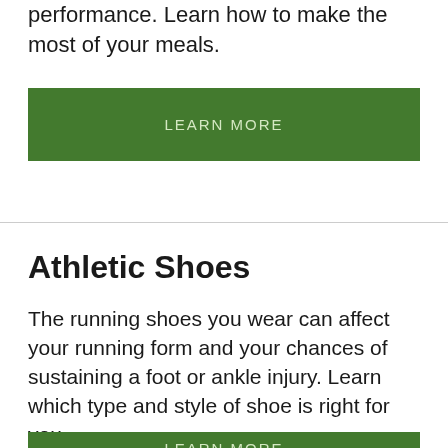performance. Learn how to make the most of your meals.
LEARN MORE
Athletic Shoes
The running shoes you wear can affect your running form and your chances of sustaining a foot or ankle injury. Learn which type and style of shoe is right for you.
LEARN MORE